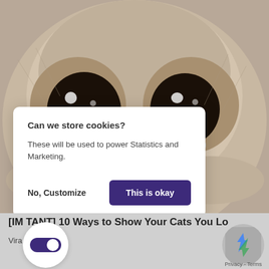[Figure (photo): Close-up photo of a crying cat with large dark eyes and tears, light-colored fur, showing the cat's face with nose in center]
Can we store cookies?
These will be used to power Statistics and Marketing.
No, Customize
This is okay
[IM...TANT] 10 Ways to Show Your Cats You Love Them
Vira...
Privacy - Terms